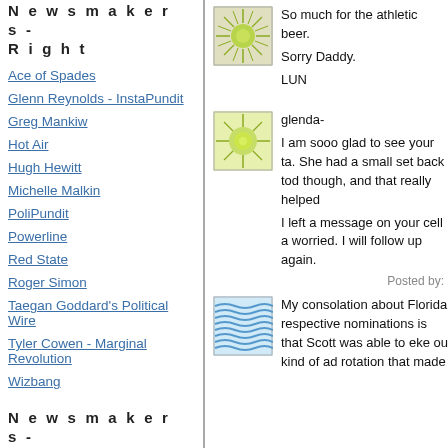Newsmakers - Right
Ace of Spades
Glenn Reynolds - InstaPundit
Greg Mankiw
Hot Air
Hugh Hewitt
Michelle Malkin
PoliPundit
Powerline
Red State
Roger Simon
Taegan Goddard's Political Wire
Tyler Cowen - Marginal Revolution
Wizbang
Newsmakers - Unclaimed
Ann Althouse
KC Johnson / Duke Lacrosse
[Figure (illustration): Green spiky circular pattern avatar on white background]
So much for the athletic beer. Sorry Daddy. LUN
[Figure (illustration): Green spiky circular pattern avatar on white background]
glenda-
I am sooo glad to see your ta. She had a small set back tod though, and that really helped
I left a message on your cell a worried. I will follow up again.
Posted by:
[Figure (illustration): Blue wavy lines pattern avatar]
My consolation about Florida respective nominations is that Scott was able to eke ou kind of ad rotation that made